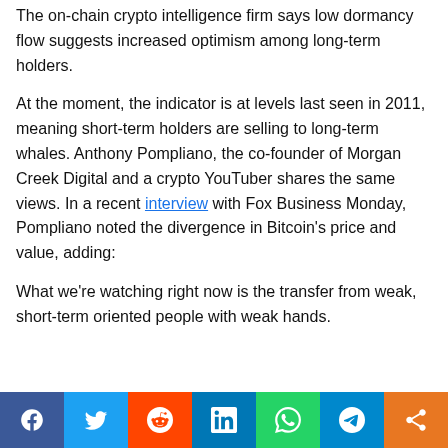The on-chain crypto intelligence firm says low dormancy flow suggests increased optimism among long-term holders.
At the moment, the indicator is at levels last seen in 2011, meaning short-term holders are selling to long-term whales. Anthony Pompliano, the co-founder of Morgan Creek Digital and a crypto YouTuber shares the same views. In a recent interview with Fox Business Monday, Pompliano noted the divergence in Bitcoin's price and value, adding:
What we're watching right now is the transfer from weak, short-term oriented people with weak hands…
Share bar: Facebook, Twitter, Reddit, LinkedIn, WhatsApp, Telegram, More